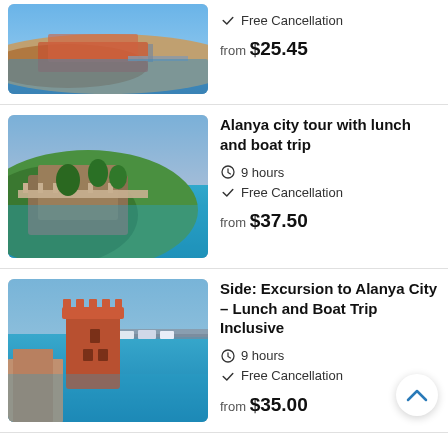[Figure (photo): Aerial view of a coastal town with red-roofed buildings and a marina]
Free Cancellation
from $25.45
[Figure (photo): Aerial view of Alanya castle and coastline with green hills and turquoise sea]
Alanya city tour with lunch and boat trip
9 hours
Free Cancellation
from $37.50
[Figure (photo): Aerial view of Alanya Red Tower with harbour and boats]
Side: Excursion to Alanya City – Lunch and Boat Trip Inclusive
9 hours
Free Cancellation
from $35.00